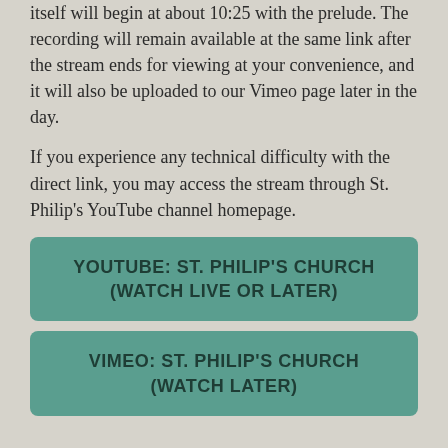itself will begin at about 10:25 with the prelude. The recording will remain available at the same link after the stream ends for viewing at your convenience, and it will also be uploaded to our Vimeo page later in the day.
If you experience any technical difficulty with the direct link, you may access the stream through St. Philip's YouTube channel homepage.
YOUTUBE: ST. PHILIP'S CHURCH (WATCH LIVE OR LATER)
VIMEO: ST. PHILIP'S CHURCH (WATCH LATER)
Here are some notes we have been sharing each